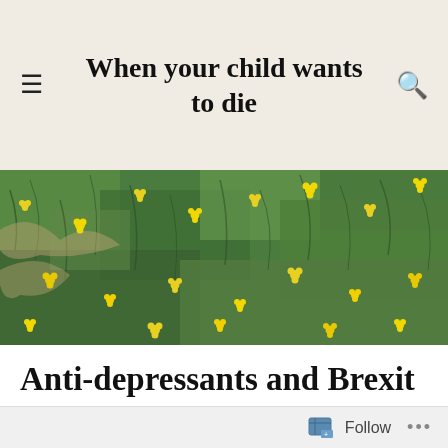When your child wants to die
[Figure (photo): Close-up photograph of green grass and foliage with small yellow flowers scattered throughout]
Anti-depressants and Brexit
ON MARCH 28, 2019 / BY NORASMUM12